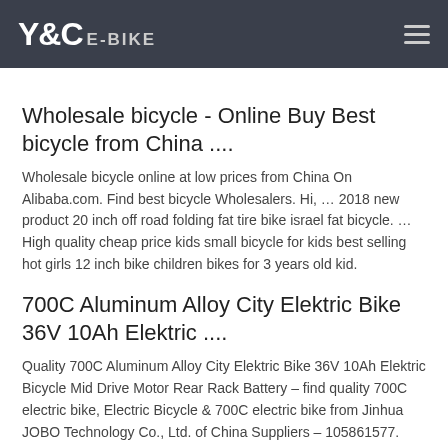Y&C E-BIKE
Wholesale bicycle - Online Buy Best bicycle from China ....
Wholesale bicycle online at low prices from China On Alibaba.com. Find best bicycle Wholesalers. Hi, … 2018 new product 20 inch off road folding fat tire bike israel fat bicycle. … High quality cheap price kids small bicycle for kids best selling hot girls 12 inch bike children bikes for 3 years old kid.
700C Aluminum Alloy City Elektric Bike 36V 10Ah Elektric ....
Quality 700C Aluminum Alloy City Elektric Bike 36V 10Ah Elektric Bicycle Mid Drive Motor Rear Rack Battery – find quality 700C electric bike, Electric Bicycle & 700C electric bike from Jinhua JOBO Technology Co., Ltd. of China Suppliers – 105861577.